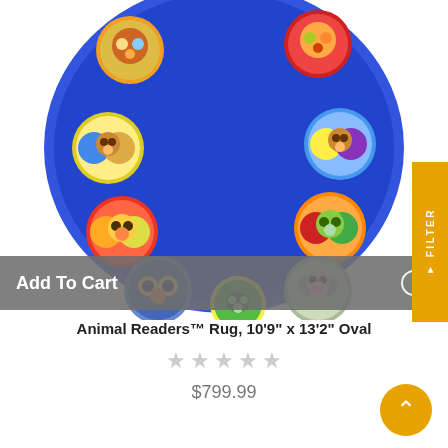[Figure (photo): An oval-shaped blue children's classroom rug featuring circular cartoon animal character medallions arranged around the border on a bright blue background. Animals include lions, monkeys, bears, owls, koalas, turtles and other friendly animals in colorful circular frames.]
Add To Cart
Animal Readers™ Rug, 10'9" x 13'2" Oval
$799.99